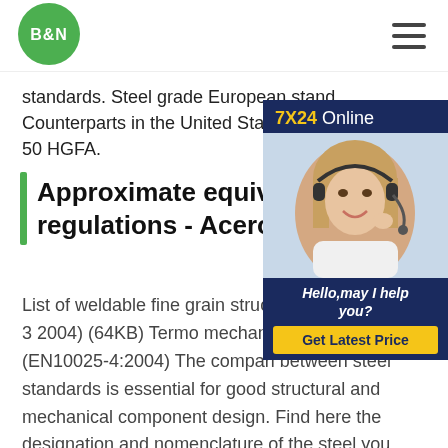[Figure (logo): B&N green circular logo with white bold text]
standards. Steel grade European standards. Counterparts in the United States. 38 Cr... 1.5023. -. 50 HGFA.
[Figure (infographic): 7X24 Online customer support popup with woman wearing headset, Hello may I help you text, and Get Latest Price button]
Approximate equivalence b... regulations - Aceros
List of weldable fine grain structural ste... (EN10025-3 2004) (64KB) Termo mechanical rolled steels (EN10025-4:2004) The compari between steel standards is essential for good structural and mechanical component design. Find here the designation and nomenclature of the steel you need